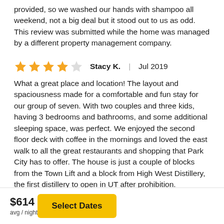provided, so we washed our hands with shampoo all weekend, not a big deal but it stood out to us as odd. This review was submitted while the home was managed by a different property management company.
Stacy K.  |  Jul 2019  [4 stars out of 5]
What a great place and location! The layout and spaciousness made for a comfortable and fun stay for our group of seven. With two couples and three kids, having 3 bedrooms and bathrooms, and some additional sleeping space, was perfect. We enjoyed the second floor deck with coffee in the mornings and loved the east walk to all the great restaurants and shopping that Park City has to offer. The house is just a couple of blocks from the Town Lift and a block from High West Distillery, the first distillery to open in UT after prohibition.
The only issue with this house is that there is only one parking spot, which is in the garage. Because the city does not allow street parking in neighborhoods without a permit, we had to park
$614
avg / night
Select Dates